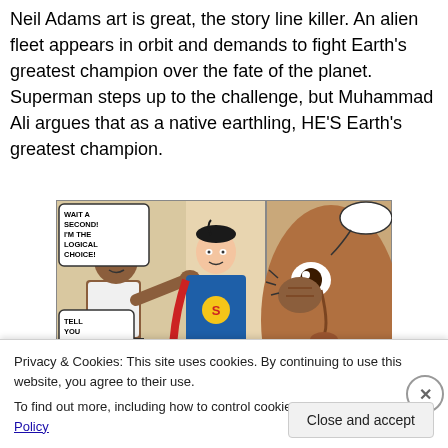Neil Adams art is great, the story line killer. An alien fleet appears in orbit and demands to fight Earth's greatest champion over the fate of the planet. Superman steps up to the challenge, but Muhammad Ali argues that as a native earthling, HE'S Earth's greatest champion.
[Figure (illustration): Comic book panel showing Muhammad Ali and Superman side by side, with Ali gesturing and speech bubbles reading 'WAIT A SECOND! I'M THE LOGICAL CHOICE!', 'TELL YOU WHAT...', 'WE'LL DECIDE THIS THE REASON-ABLE WAY...', and 'YOU WANT TO'. On the right, a large close-up of a man's face reacting in shock/pain.]
Privacy & Cookies: This site uses cookies. By continuing to use this website, you agree to their use.
To find out more, including how to control cookies, see here: Cookie Policy
Close and accept